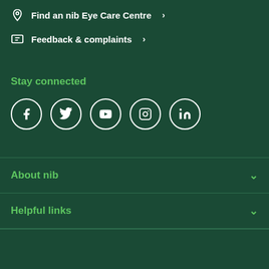Find an nib Eye Care Centre
Feedback & complaints
Stay connected
[Figure (infographic): Social media icons in white circles: Facebook, Twitter, YouTube, Instagram, LinkedIn]
About nib
Helpful links